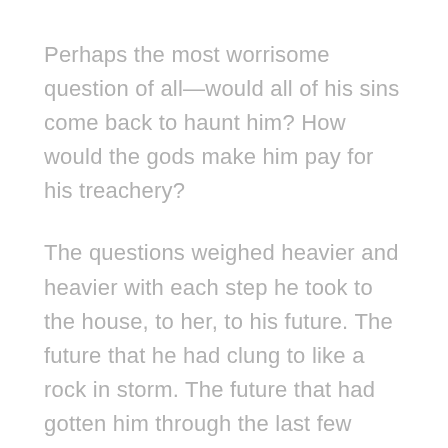Perhaps the most worrisome question of all—would all of his sins come back to haunt him? How would the gods make him pay for his treachery?
The questions weighed heavier and heavier with each step he took to the house, to her, to his future. The future that he had clung to like a rock in storm. The future that had gotten him through the last few months—a light in the darkness. The future that suddenly seemed full of shadows and doubt.